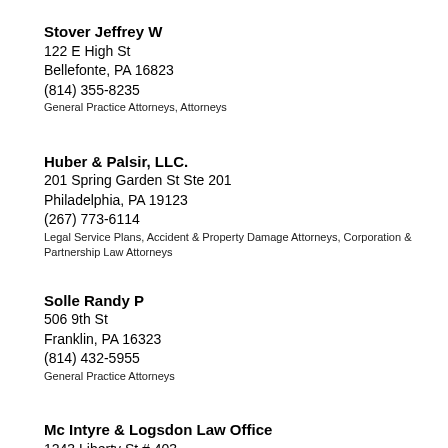Stover Jeffrey W
122 E High St
Bellefonte, PA 16823
(814) 355-8235
General Practice Attorneys, Attorneys
Huber & Palsir, LLC.
201 Spring Garden St Ste 201
Philadelphia, PA 19123
(267) 773-6114
Legal Service Plans,  Accident & Property Damage Attorneys,  Corporation & Partnership Law Attorneys
Solle Randy P
506 9th St
Franklin, PA 16323
(814) 432-5955
General Practice Attorneys
Mc Intyre & Logsdon Law Office
1243 Liberty St # 403